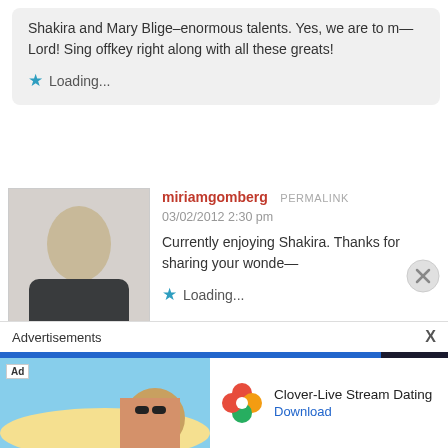Shakira and Mary Blige–enormous talents. Yes, we are to m— Lord! Sing offkey right along with all these greats!
Loading...
[Figure (photo): Avatar photo of miriamgomberg - woman with blonde hair in winter setting]
miriamgomberg  PERMALINK
03/02/2012 2:30 pm
Currently enjoying Shakira. Thanks for sharing your wonde—
Loading...
[Figure (photo): Avatar photo of petchary - woman with dark hair]
petchary  PERMALINK
Advertisements
[Figure (photo): Advertisement for Clover-Live Stream Dating app showing a woman on a beach]
Clover-Live Stream Dating Download